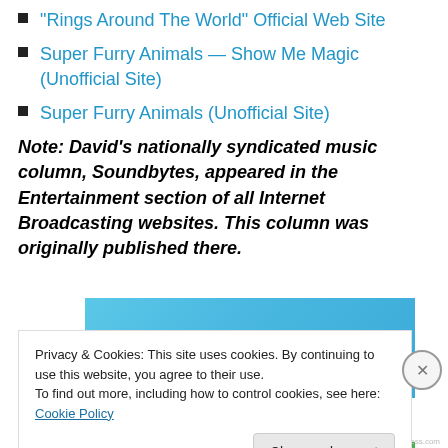"Rings Around The World" Official Web Site
Super Furry Animals — Show Me Magic (Unofficial Site)
Super Furry Animals (Unofficial Site)
Note: David's nationally syndicated music column, Soundbytes, appeared in the Entertainment section of all Internet Broadcasting websites. This column was originally published there.
[Figure (screenshot): Blue advertisement banner reading 'The only journaling app you'll ever need.']
Privacy & Cookies: This site uses cookies. By continuing to use this website, you agree to their use.
To find out more, including how to control cookies, see here: Cookie Policy
Close and accept